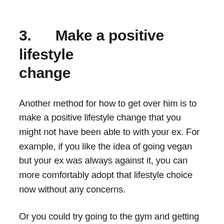3.    Make a positive lifestyle change
Another method for how to get over him is to make a positive lifestyle change that you might not have been able to with your ex. For example, if you like the idea of going vegan but your ex was always against it, you can more comfortably adopt that lifestyle choice now without any concerns.
Or you could try going to the gym and getting the dream body you've always wanted. Pursuing fitness goals can really help improve your self